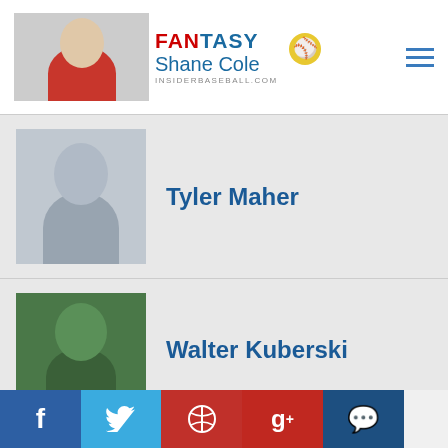FANTASY / Insider Baseball - Shane Cole - insiderbaseball.com
[Figure (photo): Tyler Maher headshot photo]
Tyler Maher
[Figure (photo): Walter Kuberski headshot photo]
Walter Kuberski
CATEGORIES
Blog Home
Player Commentary
Preseason Prep
f  Twitter  Pinterest  g+  Comment